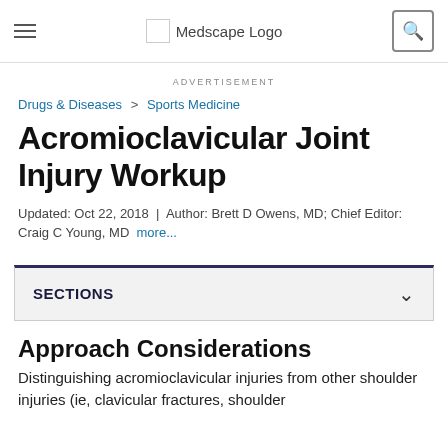Medscape Logo
ADVERTISEMENT
Drugs & Diseases > Sports Medicine
Acromioclavicular Joint Injury Workup
Updated: Oct 22, 2018 | Author: Brett D Owens, MD; Chief Editor: Craig C Young, MD more...
SECTIONS
Approach Considerations
Distinguishing acromioclavicular injuries from other shoulder injuries (ie, clavicular fractures, shoulder